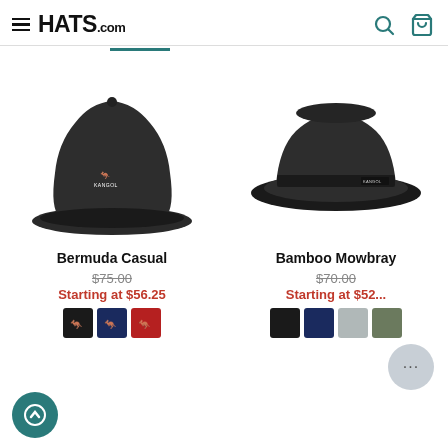HATS.com
[Figure (photo): Black Kangol Bermuda Casual bucket hat with white kangaroo logo]
[Figure (photo): Black Kangol Bamboo Mowbray porkpie hat with Kangol label]
Bermuda Casual
Bamboo Mowbray
$75.00 (strikethrough), Starting at $56.25
$70.00 (strikethrough), Starting at $52...
[Figure (photo): Color swatches: black, navy, red for Bermuda Casual]
[Figure (photo): Color swatches: black, navy, light gray, olive for Bamboo Mowbray]